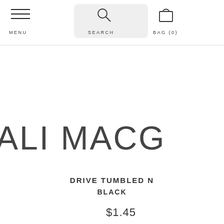MENU  SEARCH  BAG (0)
ALI MACGR
DRIVE TUMBLED N
BLACK
$1.45